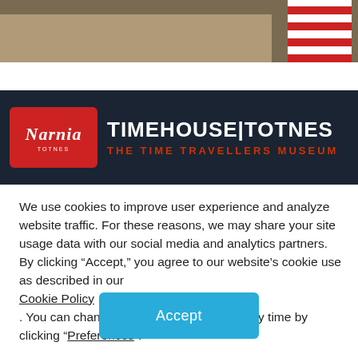[Figure (photo): Top portion of an indoor museum or market scene with wooden floor and a red-and-white striped tent/canopy visible on the right side.]
[Figure (photo): Sign for 'Narnia TOTNES — TIMEHOUSE TOTNES — THE TIME TRAVELLERS MUSEUM' on a dark navy background. Left side has a red rounded-rectangle badge with 'Narnia' in italic script. Right side has bold white uppercase text 'TIMEHOUSE TOTNES' and below it in red uppercase 'THE TIME TRAVELLERS MUSEUM'.]
We use cookies to improve user experience and analyze website traffic. For these reasons, we may share your site usage data with our social media and analytics partners. By clicking “Accept,” you agree to our website’s cookie use as described in our Cookie Policy . You can change your cookie settings at any time by clicking “Preferences”.